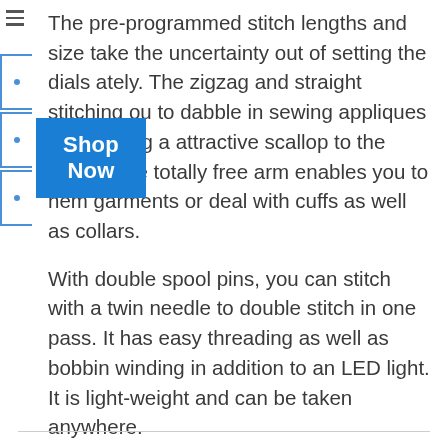The pre-programmed stitch lengths and size take the uncertainty out of setting the dials ately. The zigzag and straight stitching ou to dabble in sewing appliques or including a attractive scallop to the textile. The totally free arm enables you to hem garments or deal with cuffs as well as collars.
[Figure (other): Blue 'Shop Now' button overlay on left side of text]
With double spool pins, you can stitch with a twin needle to double stitch in one pass. It has easy threading as well as bobbin winding in addition to an LED light. It is light-weight and can be taken anywhere.